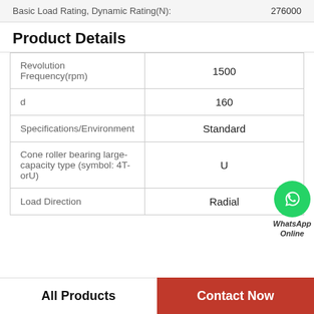Basic Load Rating, Dynamic Rating(N): 276000
Product Details
| Property | Value |
| --- | --- |
| Revolution Frequency(rpm) | 1500 |
| d | 160 |
| Specifications/Environment | Standard |
| Cone roller bearing large-capacity type (symbol: 4T-orU) | U |
| Load Direction | Radial |
[Figure (logo): WhatsApp Online contact badge with green phone icon circle]
All Products
Contact Now